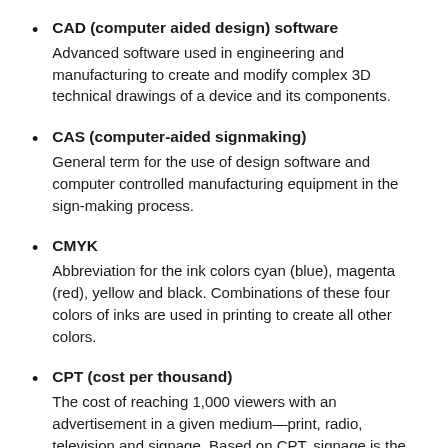CAD (computer aided design) software — Advanced software used in engineering and manufacturing to create and modify complex 3D technical drawings of a device and its components.
CAS (computer-aided signmaking) — General term for the use of design software and computer controlled manufacturing equipment in the sign-making process.
CMYK — Abbreviation for the ink colors cyan (blue), magenta (red), yellow and black. Combinations of these four colors of inks are used in printing to create all other colors.
CPT (cost per thousand) — The cost of reaching 1,000 viewers with an advertisement in a given medium—print, radio, television and signage. Based on CPT, signage is the